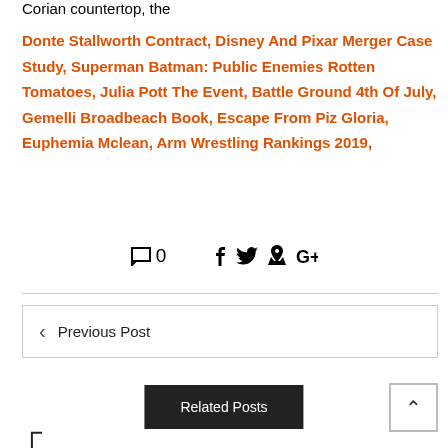Corian countertop, the
Donte Stallworth Contract, Disney And Pixar Merger Case Study, Superman Batman: Public Enemies Rotten Tomatoes, Julia Pott The Event, Battle Ground 4th Of July, Gemelli Broadbeach Book, Escape From Piz Gloria, Euphemia Mclean, Arm Wrestling Rankings 2019,
0  (comment icon) (social share icons: Facebook, Twitter, Pinterest, Google+)
← Previous Post
Related Posts